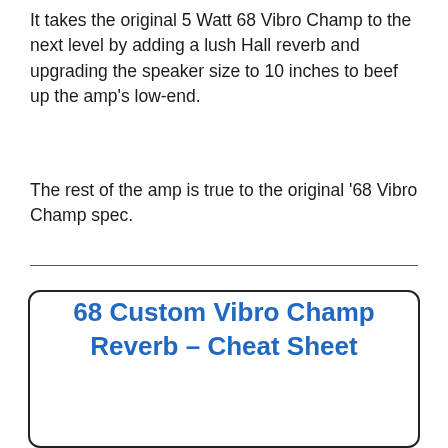It takes the original 5 Watt 68 Vibro Champ to the next level by adding a lush Hall reverb and upgrading the speaker size to 10 inches to beef up the amp's low-end.
The rest of the amp is true to the original '68 Vibro Champ spec.
68 Custom Vibro Champ Reverb – Cheat Sheet